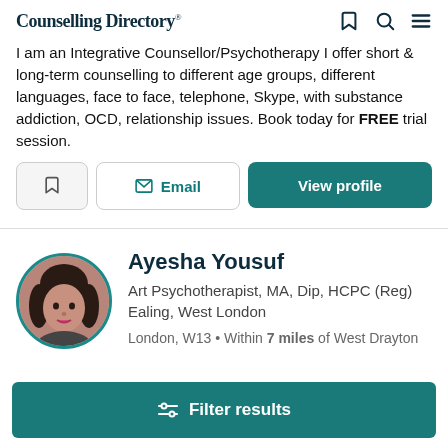Counselling Directory
I am an Integrative Counsellor/Psychotherapy I offer short & long-term counselling to different age groups, different languages, face to face, telephone, Skype, with substance addiction, OCD, relationship issues. Book today for FREE trial session.
Email | View profile
Ayesha Yousuf
Art Psychotherapist, MA, Dip, HCPC (Reg) Ealing, West London
London, W13 • Within 7 miles of West Drayton
Filter results